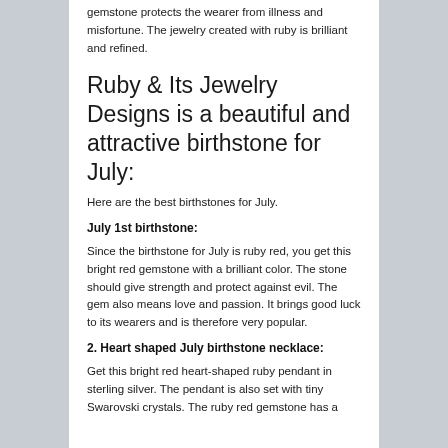gemstone protects the wearer from illness and misfortune. The jewelry created with ruby is brilliant and refined.
Ruby & Its Jewelry Designs is a beautiful and attractive birthstone for July:
Here are the best birthstones for July.
July 1st birthstone:
Since the birthstone for July is ruby red, you get this bright red gemstone with a brilliant color. The stone should give strength and protect against evil. The gem also means love and passion. It brings good luck to its wearers and is therefore very popular.
2. Heart shaped July birthstone necklace:
Get this bright red heart-shaped ruby pendant in sterling silver. The pendant is also set with tiny Swarovski crystals. The ruby red gemstone has a